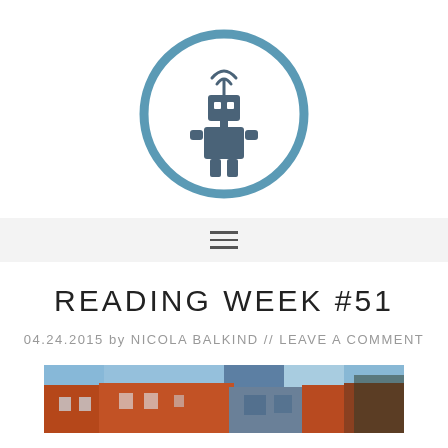[Figure (logo): Round robot logo with WiFi antenna, outlined in steel blue circle]
[Figure (other): Hamburger menu icon (three horizontal lines) on a light gray navigation bar]
READING WEEK #51
04.24.2015 by NICOLA BALKIND // LEAVE A COMMENT
[Figure (photo): Strip of brick building facade photographs at bottom of page]